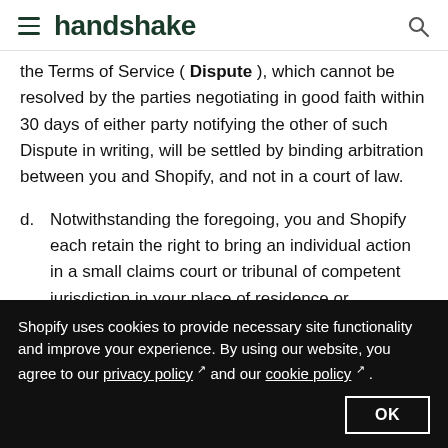handshake
the Terms of Service ( Dispute ), which cannot be resolved by the parties negotiating in good faith within 30 days of either party notifying the other of such Dispute in writing, will be settled by binding arbitration between you and Shopify, and not in a court of law.
d. Notwithstanding the foregoing, you and Shopify each retain the right to bring an individual action in a small claims court or tribunal of competent jurisdiction in your place of residence or incorporation for Disputes relating to unpaid fees
Shopify uses cookies to provide necessary site functionality and improve your experience. By using our website, you agree to our privacy policy and our cookie policy .